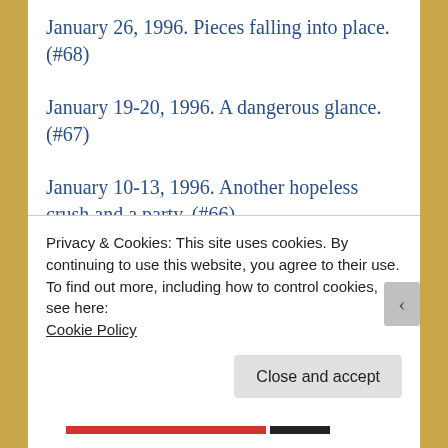January 26, 1996. Pieces falling into place. (#68)
January 19-20, 1996. A dangerous glance. (#67)
January 10-13, 1996. Another hopeless crush and a party. (#66)
December 30, 1995 – January 1, 1996. A family vacation that did not involve boring relatives. (#65)
December 24-25, 1995. I really wish Mom
Privacy & Cookies: This site uses cookies. By continuing to use this website, you agree to their use.
To find out more, including how to control cookies, see here: Cookie Policy
Close and accept